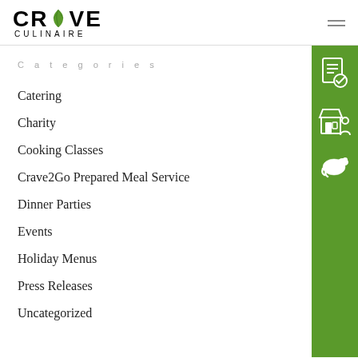CRAVE CULINAIRE
Categories
Catering
Charity
Cooking Classes
Crave2Go Prepared Meal Service
Dinner Parties
Events
Holiday Menus
Press Releases
Uncategorized
[Figure (illustration): Green sidebar with three white icons: a document with checkmark, a storefront with person, and a roasted turkey/chicken]